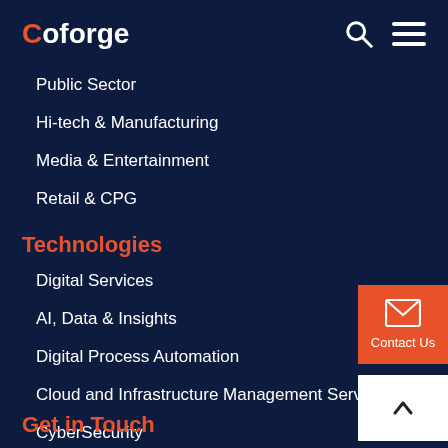Coforge
Public Sector
Hi-tech & Manufacturing
Media & Entertainment
Retail & CPG
Technologies
Digital Services
AI, Data & Insights
Digital Process Automation
Cloud and Infrastructure Management Services
CyberSecurity
Advanced Application Engineering Services
Business Process Solutions (BPS)
SAP Services
Get in Touch
[Figure (other): Contact Us button with envelope icon]
[Figure (other): Scroll to top button with up arrow]